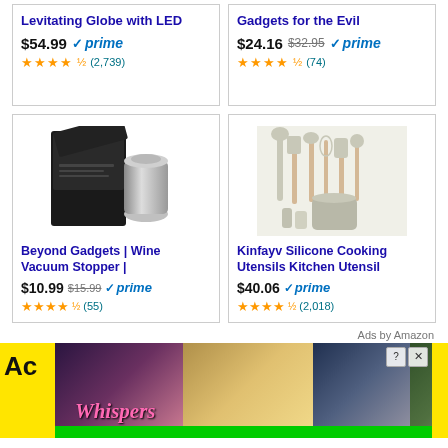[Figure (screenshot): Top-left product card (partial): Levitating Globe with LED, $54.99, Prime, 4.5 stars, (2,739) reviews]
[Figure (screenshot): Top-right product card (partial): Gadgets for the Evil, $24.16 was $32.95, Prime, 4.5 stars, (74) reviews]
[Figure (photo): Wine vacuum stopper product image — dark box packaging with silver stopper]
Beyond Gadgets | Wine Vacuum Stopper |
$10.99 $15.99 ✓prime ★★★★½ (55)
[Figure (photo): Silicone cooking utensils set — beige/white utensils with wood handles on white background]
Kinfayv Silicone Cooking Utensils Kitchen Utensil
$40.06 ✓prime ★★★★½ (2,018)
Ads by Amazon
[Figure (screenshot): Ad banner for Whispers game — yellow left strip with 'Ac' text, romantic visual novel scenes, 'Whispers' logo, green bottom strip, close and question mark buttons]